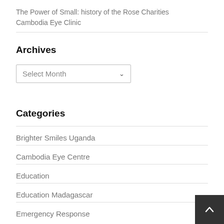The Power of Small: history of the Rose Charities Cambodia Eye Clinic
Archives
Select Month
Categories
Brighter Smiles Uganda
Cambodia Eye Centre
Education
Education Madagascar
Emergency Response